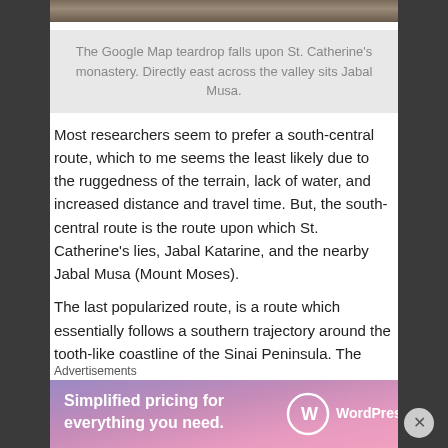[Figure (photo): Top portion of a photograph showing terrain/landscape, partially visible at top of page]
The Google Map teardrop falls upon St. Catherine's monastery. Directly east across the valley sits Jabal Musa.
Most researchers seem to prefer a south-central route, which to me seems the least likely due to the ruggedness of the terrain, lack of water, and increased distance and travel time. But, the south-central route is the route upon which St. Catherine’s lies, Jabal Katarine, and the nearby Jabal Musa (Mount Moses).
The last popularized route, is a route which essentially follows a southern trajectory around the tooth-like coastline of the Sinai Peninsula. The route is obviously the longest of those routes suggested,
Advertisements
[Figure (infographic): WordPress.com advertisement banner with gradient purple-pink background showing 'Simplified pricing for everything you need.' with WordPress.com logo]